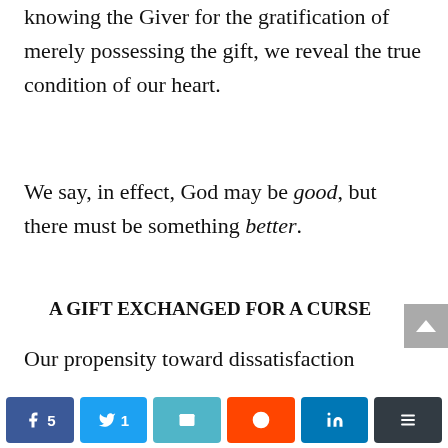knowing the Giver for the gratification of merely possessing the gift, we reveal the true condition of our heart.
We say, in effect, God may be good, but there must be something better.
A GIFT EXCHANGED FOR A CURSE
Our propensity toward dissatisfaction